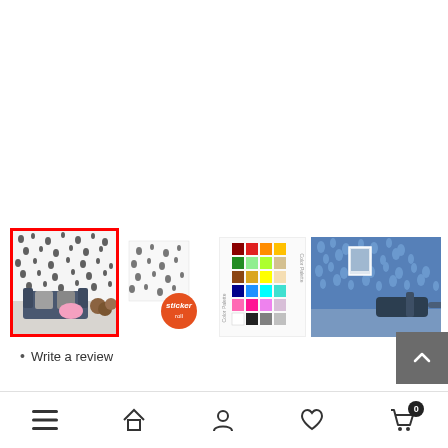[Figure (photo): Product thumbnail gallery showing: 1) Panda pattern wallpaper in a room with sofa (selected, red border), 2) Panda pattern sticker roll swatch, 3) Color palette swatches grid, 4) Blue floral wallpaper room with lounge chair]
Write a review
[Figure (other): Back to top button (dark gray arrow pointing up)]
[Figure (other): Bottom navigation bar with menu, home, account, wishlist, and cart (badge showing 0) icons]